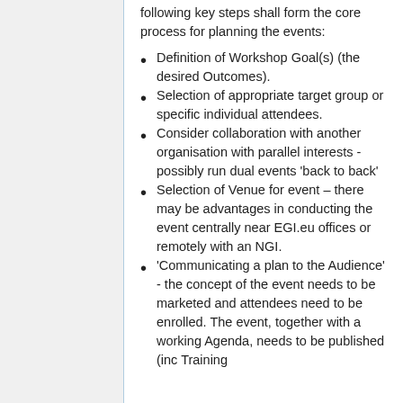following key steps shall form the core process for planning the events:
Definition of Workshop Goal(s) (the desired Outcomes).
Selection of appropriate target group or specific individual attendees.
Consider collaboration with another organisation with parallel interests - possibly run dual events 'back to back'
Selection of Venue for event – there may be advantages in conducting the event centrally near EGI.eu offices or remotely with an NGI.
'Communicating a plan to the Audience' - the concept of the event needs to be marketed and attendees need to be enrolled. The event, together with a working Agenda, needs to be published (inc Training